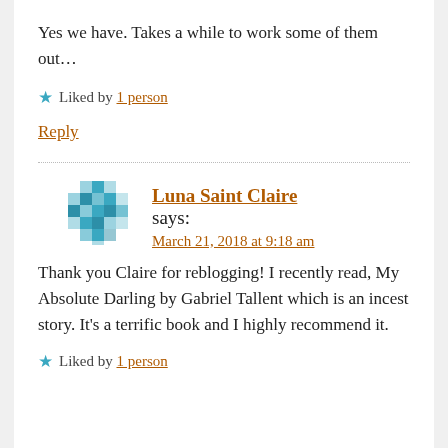Yes we have. Takes a while to work some of them out…
★ Liked by 1 person
Reply
Luna Saint Claire says: March 21, 2018 at 9:18 am
Thank you Claire for reblogging! I recently read, My Absolute Darling by Gabriel Tallent which is an incest story. It's a terrific book and I highly recommend it.
★ Liked by 1 person